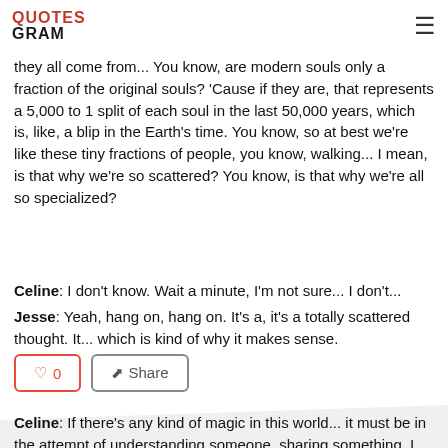QuotesGram
they all come from... You know, are modern souls only a fraction of the original souls? 'Cause if they are, that represents a 5,000 to 1 split of each soul in the last 50,000 years, which is, like, a blip in the Earth's time. You know, so at best we're like these tiny fractions of people, you know, walking... I mean, is that why we're so scattered? You know, is that why we're all so specialized?
Celine: I don't know. Wait a minute, I'm not sure... I don't...
Jesse: Yeah, hang on, hang on. It's a, it's a totally scattered thought. It... which is kind of why it makes sense.
Celine: If there's any kind of magic in this world... it must be in the attempt of understanding someone, sharing something. I know it's almost impossible to succeed... but who cares, really? The answer must be in the attempt.